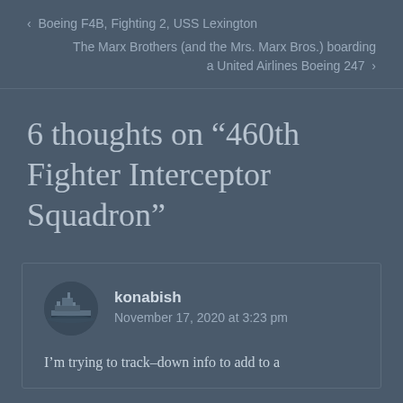‹ Boeing F4B, Fighting 2, USS Lexington
The Marx Brothers (and the Mrs. Marx Bros.) boarding a United Airlines Boeing 247 ›
6 thoughts on “460th Fighter Interceptor Squadron”
konabish
November 17, 2020 at 3:23 pm
I’m trying to track–down info to add to a